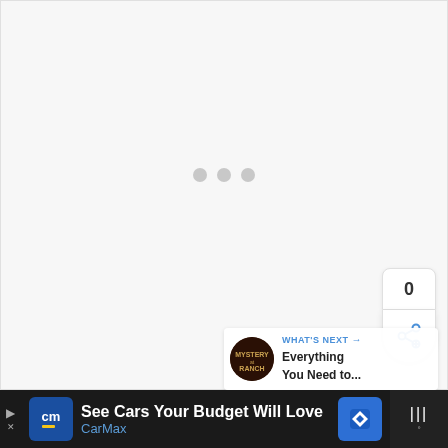[Figure (screenshot): Loading state with three gray dots centered on a light gray background area]
[Figure (infographic): Share widget showing count 0 and share icon button]
[Figure (infographic): What's Next card with Mystery Ranch thumbnail and text 'Everything You Need to...']
[Figure (screenshot): Ad bar at bottom: CarMax advertisement 'See Cars Your Budget Will Love' on dark background]